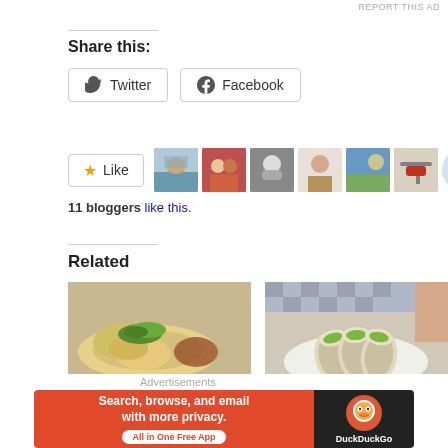REPORT THIS AD
Share this:
[Figure (other): Twitter share button]
[Figure (other): Facebook share button]
[Figure (other): Like button with star and avatar strip showing 11 bloggers]
11 bloggers like this.
Related
[Figure (photo): Food photo: chicken rice dish with herbs]
Review: Restoran Kong Sai, Bandar Puteri Puchong –
[Figure (photo): Food photo: wrap rolls on a plate]
Review: VLite Cafe, Bandar Puteri – Healthy + Tasty
Advertisements
[Figure (other): DuckDuckGo advertisement banner: Search, browse, and email with more privacy. All in One Free App]